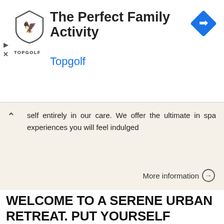[Figure (screenshot): Topgolf advertisement banner with logo, title 'The Perfect Family Activity', Topgolf brand name in blue, navigation arrow diamond icon, and playback/close controls]
self entirely in our care. We offer the ultimate in spa experiences you will feel indulged
More information →
WELCOME TO A SERENE URBAN RETREAT. PUT YOURSELF ENTIRELY IN OUR CARE AND LET US PUT TIME ON HOLD. LOSE
SIENNA SPA 1 WELCOME TO A SERENE URBAN RETREAT. PUT YOURSELF ENTIRELY IN OUR CARE AND LET US PUT TIME ON HOLD. LOSE YOURSELF IN THE CALM OF OUR RELAXATION ROOM. EMERGE INDULGED, ENERGISED AND ASSURED OF
[Figure (photo): Spa treatment photo showing a person receiving a facial massage]
[Figure (other): Scroll-up arrow button (chevron up in circle)]